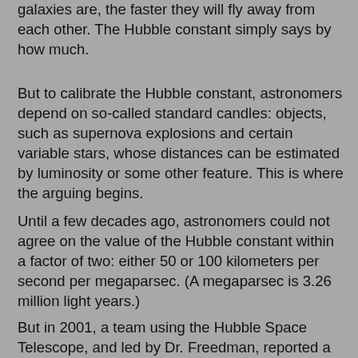galaxies are, the faster they will fly away from each other. The Hubble constant simply says by how much.
But to calibrate the Hubble constant, astronomers depend on so-called standard candles: objects, such as supernova explosions and certain variable stars, whose distances can be estimated by luminosity or some other feature. This is where the arguing begins.
Until a few decades ago, astronomers could not agree on the value of the Hubble constant within a factor of two: either 50 or 100 kilometers per second per megaparsec. (A megaparsec is 3.26 million light years.)
But in 2001, a team using the Hubble Space Telescope, and led by Dr. Freedman, reported a value of 72. For every